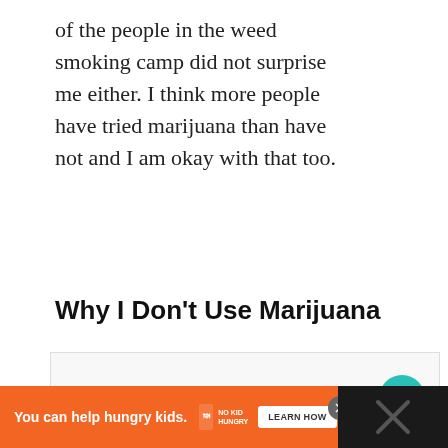of the people in the weed smoking camp did not surprise me either. I think more people have tried marijuana than have not and I am okay with that too.
Why I Don't Use Marijuana
[Figure (screenshot): Embedded image/slideshow area with heart (like) button showing count of 2, a share button, three navigation dots, and a 'What's Next' panel showing 'Camp Mustache IV...']
[Figure (infographic): Advertisement bar: orange background with 'You can help hungry kids.' text, No Kid Hungry logo, and LEARN HOW button]